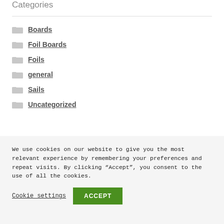Categories
Boards
Foil Boards
Foils
general
Sails
Uncategorized
We use cookies on our website to give you the most relevant experience by remembering your preferences and repeat visits. By clicking “Accept”, you consent to the use of all the cookies.
Cookie settings  ACCEPT